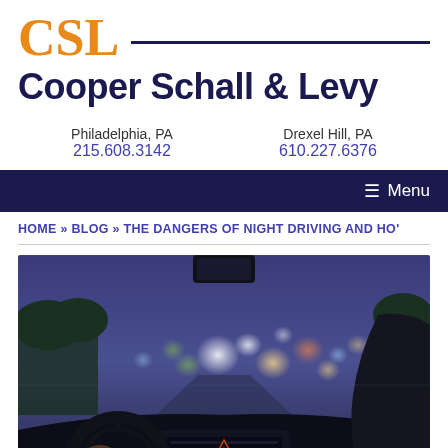[Figure (logo): CSL logo - orange letters CSL with dark navy horizontal line, followed by Cooper Schall & Levy firm name in dark navy bold]
Philadelphia, PA
215.608.3142

Drexel Hill, PA
610.227.6376
≡ Menu
HOME » BLOG » THE DANGERS OF NIGHT DRIVING AND HO'
[Figure (photo): View from inside a car at night, driver's hands on steering wheel, bokeh lights visible through windshield including car headlights and streetlights with a purple/blue twilight sky]